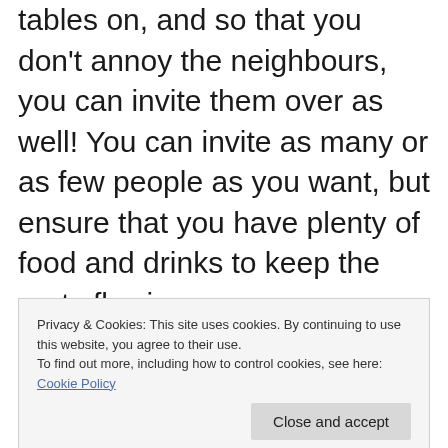tables on, and so that you don't annoy the neighbours, you can invite them over as well! You can invite as many or as few people as you want, but ensure that you have plenty of food and drinks to keep the party flowing.
Whatever you do, ensure that you have a designated driver to take everyone home at the end of the night.
Privacy & Cookies: This site uses cookies. By continuing to use this website, you agree to their use.
To find out more, including how to control cookies, see here: Cookie Policy
At first glance, this might seem an